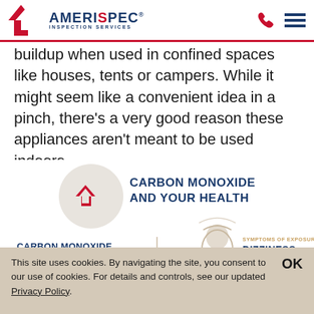[Figure (logo): AmeriSpec Inspection Services logo with red house/arrow icon and navigation icons (phone, menu)]
buildup when used in confined spaces like houses, tents or campers. While it might seem like a convenient idea in a pinch, there’s a very good reason these appliances aren’t meant to be used indoors.
[Figure (infographic): Carbon Monoxide and Your Health infographic showing AmeriSpec logo badge with text 'CARBON MONOXIDE AND YOUR HEALTH', left panel: CARBON MONOXIDE "THE SILENT KILLER", right panel: silhouette head with dizziness rings and text SYMPTOMS OF EXPOSURE: DIZZINESS & CONFUSION]
This site uses cookies. By navigating the site, you consent to our use of cookies. For details and controls, see our updated Privacy Policy.